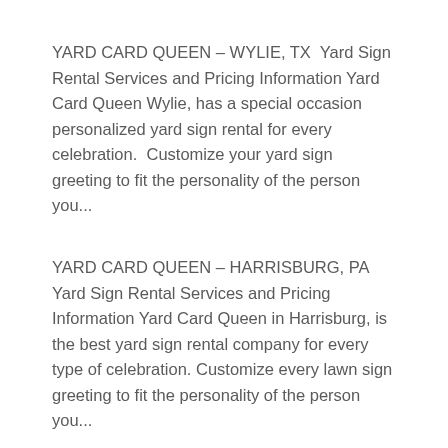YARD CARD QUEEN – WYLIE, TX  Yard Sign Rental Services and Pricing Information Yard Card Queen Wylie, has a special occasion personalized yard sign rental for every celebration.  Customize your yard sign greeting to fit the personality of the person you...
YARD CARD QUEEN – HARRISBURG, PA Yard Sign Rental Services and Pricing Information Yard Card Queen in Harrisburg, is the best yard sign rental company for every type of celebration. Customize every lawn sign greeting to fit the personality of the person you...
YARD CARD QUEEN – HUMBLE, TX Yard Sign Rental Services and Pricing Information Yard Card Queen...